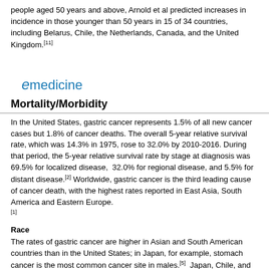people aged 50 years and above, Arnold et al predicted increases in incidence in those younger than 50 years in 15 of 34 countries, including Belarus, Chile, the Netherlands, Canada, and the United Kingdom.[11]
[Figure (logo): eMedicine logo — stylized italic 'e' followed by 'medicine' in teal/blue color]
Mortality/Morbidity
In the United States, gastric cancer represents 1.5% of all new cancer cases but 1.8% of cancer deaths. The overall 5-year relative survival rate, which was 14.3% in 1975, rose to 32.0% by 2010-2016. During that period, the 5-year relative survival rate by stage at diagnosis was 69.5% for localized disease,  32.0% for regional disease, and 5.5% for distant disease.[2] Worldwide, gastric cancer is the third leading cause of cancer death, with the highest rates reported in East Asia, South America and Eastern Europe.[1]
Race
The rates of gastric cancer are higher in Asian and South American countries than in the United States; in Japan, for example, stomach cancer is the most common cancer site in males.[5]  Japan, Chile, and Venezuela have developed a very rigorous early screening program that detects patients with early-stage disease (ie, low tumor burden). These patients appear to do quite well. In fact, in many Asian studies, patients with resected